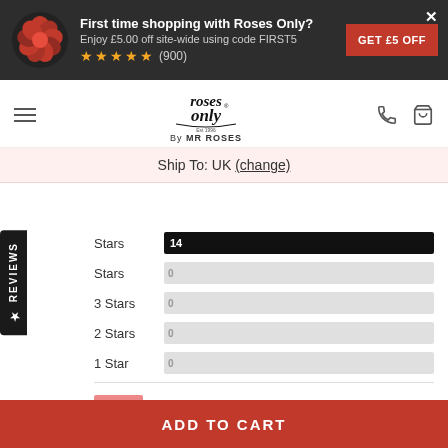[Figure (screenshot): Roses Only promotional banner with rose logo, headline 'First time shopping with Roses Only?', discount code FIRST5, 5 stars rating (900), and GET £5 OFF button]
[Figure (logo): Roses Only by MR ROSES logo in navigation bar]
Ship To: UK (change)
Stars  14
Stars  0
3 Stars  0
2 Stars  0
1 Star  0
100%  of reviewers would recommend this
ADD TO CART